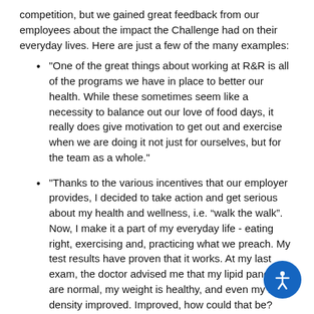competition, but we gained great feedback from our employees about the impact the Challenge had on their everyday lives. Here are just a few of the many examples:
"One of the great things about working at R&R is all of the programs we have in place to better our health. While these sometimes seem like a necessity to balance out our love of food days, it really does give motivation to get out and exercise when we are doing it not just for ourselves, but for the team as a whole."
"Thanks to the various incentives that our employer provides, I decided to take action and get serious about my health and wellness, i.e. “walk the walk”. Now, I make it a part of my everyday life - eating right, exercising and, practicing what we preach. My test results have proven that it works. At my last exam, the doctor advised me that my lipid panels are normal, my weight is healthy, and even my bone density improved. Improved, how could that be? Why didn’t I figure this out long ago!? I sure appreci… everything R&R does to encourage wellness."
"Anyone who knows me knows that I am not a wellness